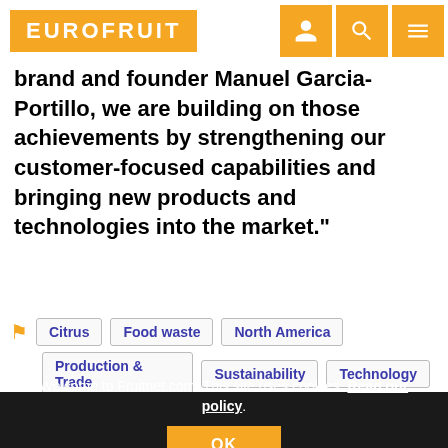EUROFRUIT
brand and founder Manuel Garcia-Portillo, we are building on those achievements by strengthening our customer-focused capabilities and bringing new products and technologies into the market."
Citrus
Food waste
North America
Production & Trade
Sustainability
Technology
Welcome to Fruitnet.com. This site uses cookies. Read our policy. OK
RELATED ARTICLES